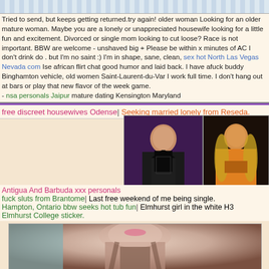decorative pattern header
Tried to send, but keeps getting returned.try again! older woman Looking for an older mature woman. Maybe you are a lonely or unappreciated housewife looking for a little fun and excitement. Divorced or single mom looking to cut loose? Race is not important. BBW are welcome - unshaved big + Please be within x minutes of AC I don't drink do . but I'm no saint :) I'm in shape, sane, clean, sex hot North Las Vegas Nevada com Ise african flirt chat good humor and laid back. I have afuck buddy Binghamton vehicle, old women Saint-Laurent-du-Var I work full time. I don't hang out at bars or play that new flavor of the week game.
- nsa personals Jaipur mature dating Kensington Maryland
free discreet housewives Odense| Seeking married lonely from Reseda.
[Figure (photo): Woman in black outfit photo]
[Figure (photo): Woman in gold/festive outfit photo]
Antigua And Barbuda xxx personals fuck sluts from Brantome| Last free weekend of me being single. Hampton, Ontario bbw seeks hot tub fun| Elmhurst girl in the white H3 Elmhurst College sticker.
[Figure (photo): Close-up portrait of woman with dark hair]